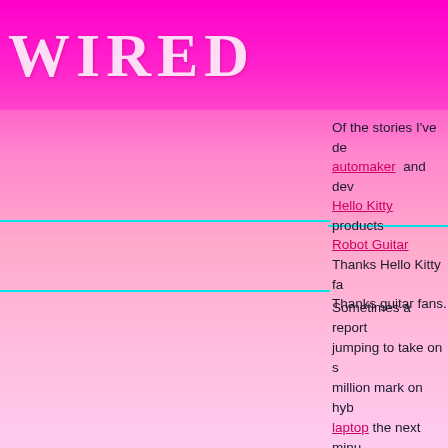WIRED
Of the stories I've de automaker and dev Hello Kitty products Robot Guitar
Thanks Hello Kitty fa
Thanks guitar fans.
Sometimes a report jumping to take on s million mark on hyb laptop the next minu Today I went to cove A long line had form Where else but in Ja The Japanese busin behind Krispy Krem They know how to a That's very importan people.